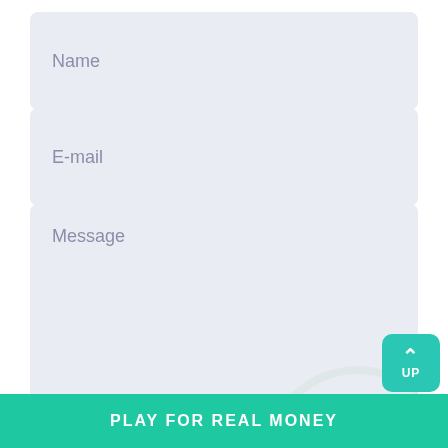Name
E-mail
Message
SEND MESSAGE
UP
THE MOST POPULAR GAMES
PLAY FOR REAL MONEY